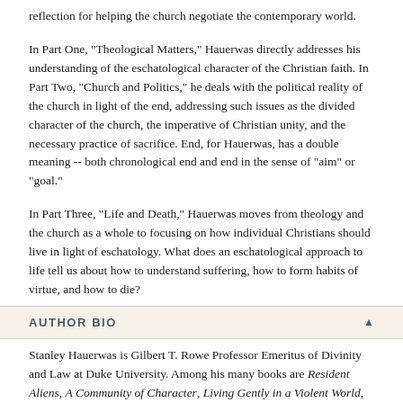reflection for helping the church negotiate the contemporary world.
In Part One, "Theological Matters," Hauerwas directly addresses his understanding of the eschatological character of the Christian faith. In Part Two, "Church and Politics," he deals with the political reality of the church in light of the end, addressing such issues as the divided character of the church, the imperative of Christian unity, and the necessary practice of sacrifice. End, for Hauerwas, has a double meaning -- both chronological end and end in the sense of "aim" or "goal."
In Part Three, "Life and Death," Hauerwas moves from theology and the church as a whole to focusing on how individual Christians should live in light of eschatology. What does an eschatological approach to life tell us about how to understand suffering, how to form habits of virtue, and how to die?
AUTHOR BIO
Stanley Hauerwas is Gilbert T. Rowe Professor Emeritus of Divinity and Law at Duke University. Among his many books are Resident Aliens, A Community of Character, Living Gently in a Violent World, and A Cross-